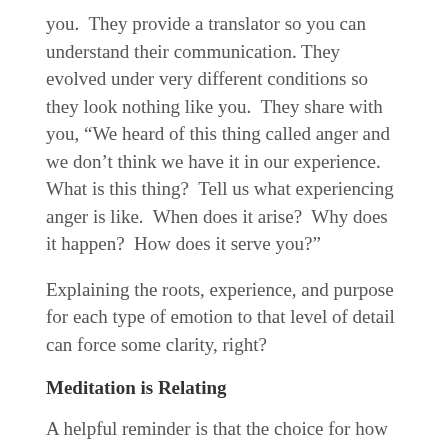you.  They provide a translator so you can understand their communication. They evolved under very different conditions so they look nothing like you.  They share with you, “We heard of this thing called anger and we don’t think we have it in our experience.  What is this thing?  Tell us what experiencing anger is like.  When does it arise?  Why does it happen?  How does it serve you?”
Explaining the roots, experience, and purpose for each type of emotion to that level of detail can force some clarity, right?
Meditation is Relating
A helpful reminder is that the choice for how to relate to your experience is up to you.  You can